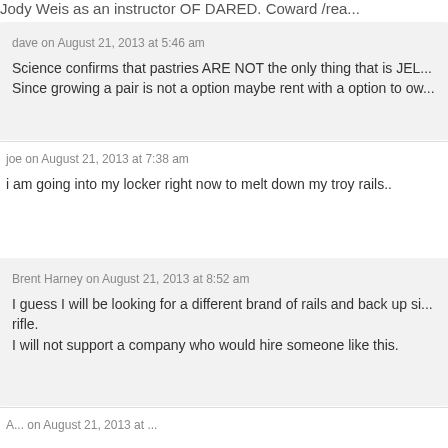Jody Weis as an instructor OF DARED. Coward /rea...
dave on August 21, 2013 at 5:46 am
Science confirms that pastries ARE NOT the only thing that is JEL... Since growing a pair is not a option maybe rent with a option to ow...
joe on August 21, 2013 at 7:38 am
i am going into my locker right now to melt down my troy rails..
Brent Harney on August 21, 2013 at 8:52 am
I guess I will be looking for a different brand of rails and back up si... rifle.
I will not support a company who would hire someone like this.
A... on August 21, 2013 at ...